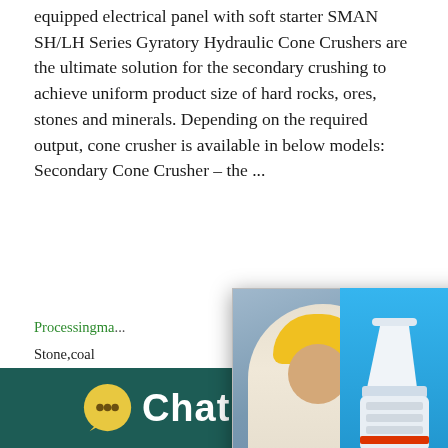equipped electrical panel with soft starter SMAN SH/LH Series Gyratory Hydraulic Cone Crushers are the ultimate solution for the secondary crushing to achieve uniform product size of hard rocks, ores, stones and minerals. Depending on the required output, cone crusher is available in below models: Secondary Cone Crusher – the ...
Processingma... ver Stone,coal ... hour online Capacity:1417... Finished prod...
[Figure (screenshot): Live chat popup overlay with people in hard hats and LIVE CHAT text in red, with Chat now (red) and Chat later (dark) buttons]
[Figure (screenshot): Right side widget showing a cone crusher machine image in blue background with Click me to chat>> button]
[Figure (photo): Industrial machinery/equipment in blue-toned background banner]
Chat Online